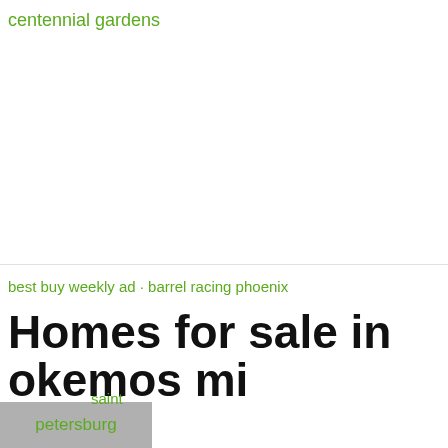centennial gardens
best buy weekly ad · barrel racing phoenix
Homes for sale in okemos mi
4 beds, 2.5 baths, 2752 sq. ft. house located at 3996 Shoals Dr, Okemos, MI 48864 sold for $294,900 on Mar 18, 2015. View sales history, tax history, home value estimates, and   The
saint
petersburg